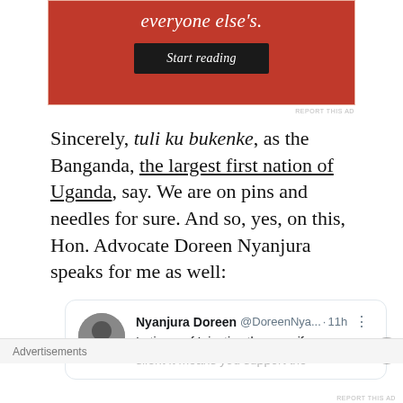[Figure (screenshot): Partial advertisement banner with red background showing 'everyone else's.' text and a 'Start reading' button]
REPORT THIS AD
Sincerely, tuli ku bukenke, as the Banganda, the largest first nation of Uganda, say. We are on pins and needles for sure. And so, yes, on this, Hon. Advocate Doreen Nyanjura speaks for me as well:
[Figure (screenshot): Tweet from Nyanjura Doreen @DoreenNya... · 11h: In times of Injustice they say if you are silent it means you support the]
Advertisements
REPORT THIS AD